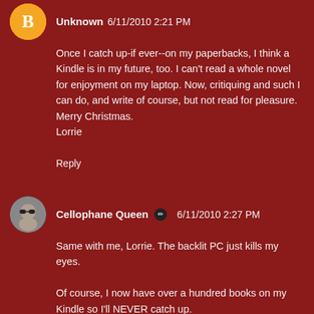Unknown 6/11/2010 2:21 PM
Once I catch up-if ever--on my paperbacks, I think a Kindle is in my future, too. I can't read a whole novel for enjoyment on my laptop. Now, critiquing and such I can do, and write of course, but not read for pleasure.
Merry Christmas.
Lorrie
Reply
Cellophane Queen 6/11/2010 2:27 PM
Same with me, Lorrie. The backlit PC just kills my eyes.
Of course, I now have over a hundred books on my Kindle so I'll NEVER catch up.
I saw that a $200 color ereader is coming out from B&N. Hmm. Maybe I need a new ereader already.